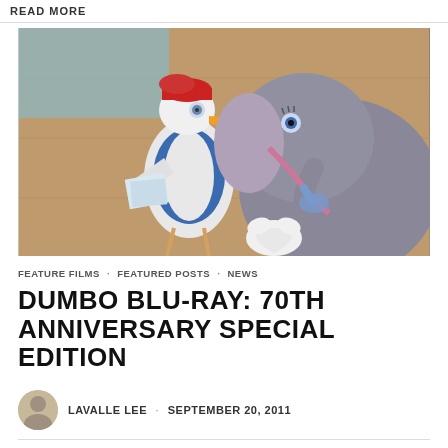READ MORE
[Figure (illustration): A still from the Disney animated film Dumbo showing a cartoon stork character in a delivery uniform holding papers, facing a grey elephant (Dumbo's mother) with a pink and blue harness, standing in a wooden interior. A small white bundle sits in the foreground.]
FEATURE FILMS · FEATURED POSTS · NEWS
DUMBO BLU-RAY: 70TH ANNIVERSARY SPECIAL EDITION
LAVALLE LEE · SEPTEMBER 20, 2011